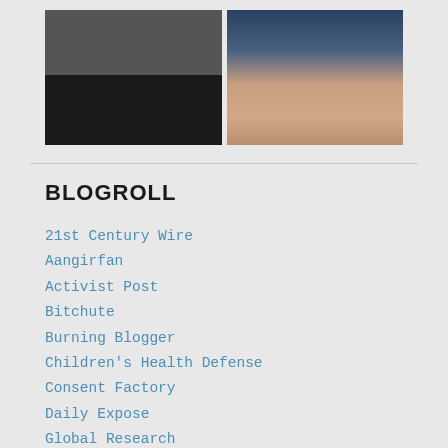[Figure (photo): Two images side by side: left image shows a dark scene with a person, right image shows a close-up portrait of an older man against a blue background]
BLOGROLL
21st Century Wire
Aangirfan
Activist Post
Bitchute
Burning Blogger
Children's Health Defense
Consent Factory
Daily Expose
Global Research
In This Together
INFRAKSHUN
Internet Archive: Wayback Machine
Lockdown Sceptics
OffGuardian